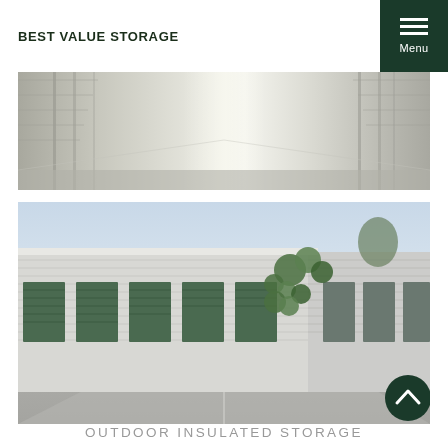BEST VALUE STORAGE
[Figure (photo): Interior hallway of an indoor storage facility, showing metal roll-up doors along both sides of a corridor with bright light at the end.]
[Figure (photo): Exterior of an outdoor insulated storage facility showing multiple green roll-up doors on white buildings, with green decorative shrubs and a paved driveway.]
OUTDOOR INSULATED STORAGE